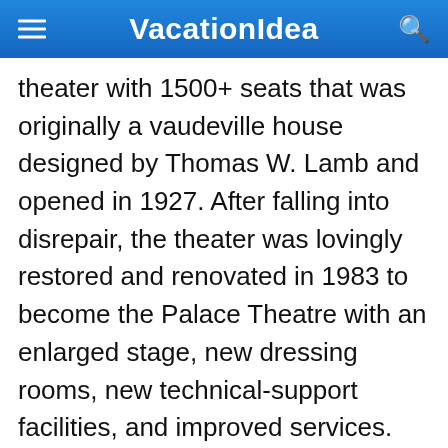VacationIdea
theater with 1500+ seats that was originally a vaudeville house designed by Thomas W. Lamb and opened in 1927. After falling into disrepair, the theater was lovingly restored and renovated in 1983 to become the Palace Theatre with an enlarged stage, new dressing rooms, new technical-support facilities, and improved services. Today, the theater presents a diverse variety of art exhibitions, concerts, and live theatre.
61 Atlantic St, Stamford, CT 06901, Phone: 203-325-4466